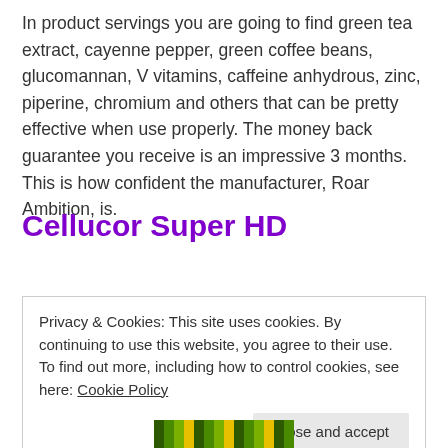In product servings you are going to find green tea extract, cayenne pepper, green coffee beans, glucomannan, V vitamins, caffeine anhydrous, zinc, piperine, chromium and others that can be pretty effective when use properly. The money back guarantee you receive is an impressive 3 months. This is how confident the manufacturer, Roar Ambition, is.
Cellucor Super HD
Privacy & Cookies: This site uses cookies. By continuing to use this website, you agree to their use.
To find out more, including how to control cookies, see here: Cookie Policy
[Figure (photo): Partial product image at the bottom of the page showing colorful packaging]